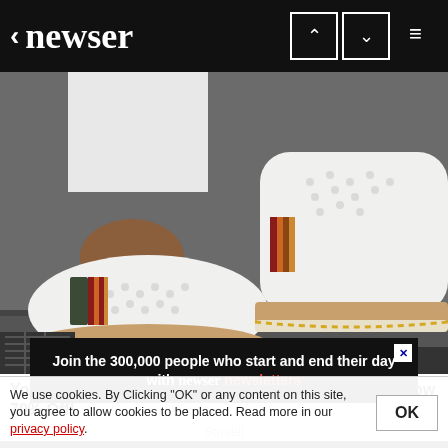< newser
[Figure (photo): Close-up photo of a person's feet wearing white slip-on shoes with perforated upper and striped accent band, standing on a street surface.]
You'll Be Like Walking on a Cloud in These Shoes - Now 70% Off!
Sursell
[Figure (infographic): Advertisement banner: Join the 300,000 people who start and end their day with newser newsletters]
We use cookies. By Clicking "OK" or any content on this site, you agree to allow cookies to be placed. Read more in our privacy policy.